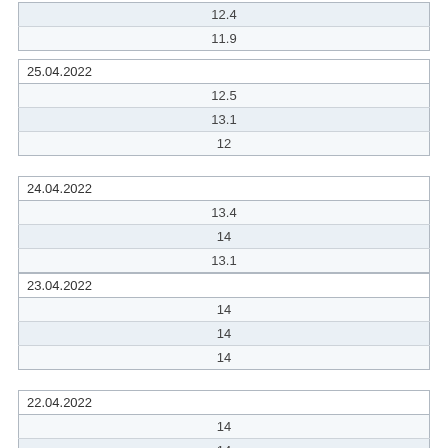| 12.4 |
| 11.9 |
| 25.04.2022 |
| --- |
| 12.5 |
| 13.1 |
| 12 |
| 24.04.2022 |
| --- |
| 13.4 |
| 14 |
| 13.1 |
| 23.04.2022 |
| --- |
| 14 |
| 14 |
| 14 |
| 22.04.2022 |
| --- |
| 14 |
| 14 |
| 14 |